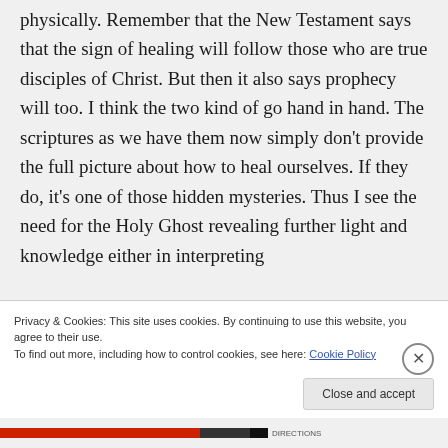physically. Remember that the New Testament says that the sign of healing will follow those who are true disciples of Christ. But then it also says prophecy will too. I think the two kind of go hand in hand. The scriptures as we have them now simply don't provide the full picture about how to heal ourselves. If they do, it's one of those hidden mysteries. Thus I see the need for the Holy Ghost revealing further light and knowledge either in interpreting
Privacy & Cookies: This site uses cookies. By continuing to use this website, you agree to their use. To find out more, including how to control cookies, see here: Cookie Policy